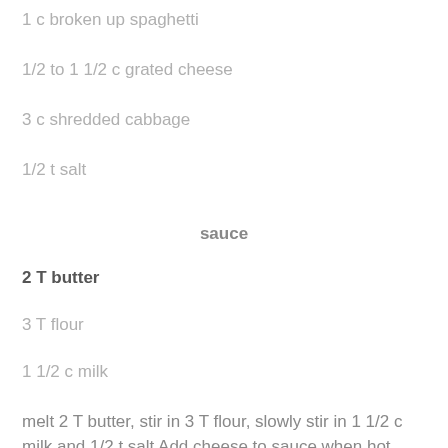1 c broken up spaghetti
1/2 to 1 1/2 c grated cheese
3 c shredded cabbage
1/2 t salt
sauce
2 T butter
3 T flour
1 1/2 c milk
melt 2 T butter, stir in 3 T flour, slowly stir in 1 1/2 c milk and 1/2 t salt Add cheese to sauce when hot Cook spaghetti til tender. Layer cabbage and hamburger make holes and pour sauce over top Cover with buttered bread crumbs Bake